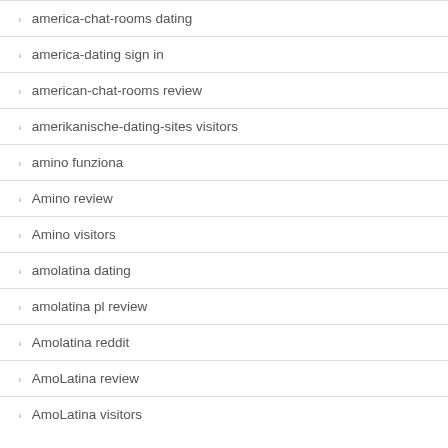america-chat-rooms dating
america-dating sign in
american-chat-rooms review
amerikanische-dating-sites visitors
amino funziona
Amino review
Amino visitors
amolatina dating
amolatina pl review
Amolatina reddit
AmoLatina review
AmoLatina visitors